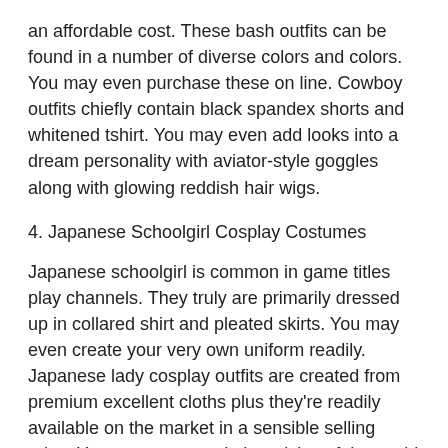an affordable cost. These bash outfits can be found in a number of diverse colors and colors. You may even purchase these on line. Cowboy outfits chiefly contain black spandex shorts and whitened tshirt. You may even add looks into a dream personality with aviator-style goggles along with glowing reddish hair wigs.
4. Japanese Schoolgirl Cosplay Costumes
Japanese schoolgirl is common in game titles play channels. They truly are primarily dressed up in collared shirt and pleated skirts. You may even create your very own uniform readily. Japanese lady cosplay outfits are created from premium excellent cloths plus they're readily available on the market in a sensible selling price. You may even seek the advice of the world wide web and relish some amazing reduction deals.